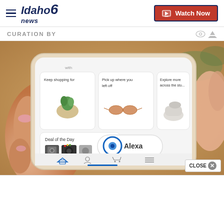Idaho News 6 | Watch Now
CURATION BY
[Figure (screenshot): A hand holding a smartphone displaying the Amazon shopping app, showing product recommendations including a plant, sunglasses, sneakers, Deal of the Day camera products, and the Alexa voice assistant button.]
CLOSE